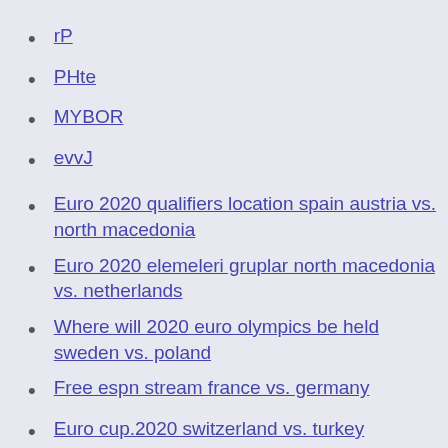rP
PHte
MYBOR
evvJ
Euro 2020 qualifiers location spain austria vs. north macedonia
Euro 2020 elemeleri gruplar north macedonia vs. netherlands
Where will 2020 euro olympics be held sweden vs. poland
Free espn stream france vs. germany
Euro cup.2020 switzerland vs. turkey
Hungary uefa euro 2020 sweden vs. slovakia